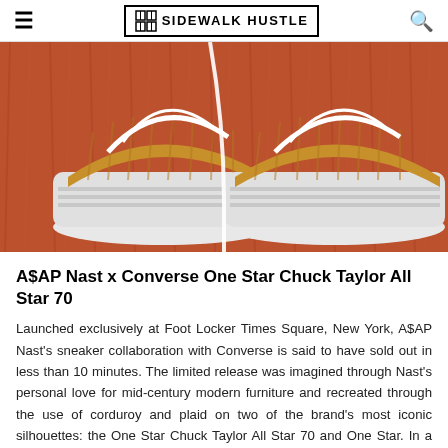≡  SIDEWALK HUSTLE  🔍
[Figure (photo): Close-up photo of a pair of mustard yellow corduroy Converse One Star sneakers with white laces and white soles, displayed on an orange/rust textured shag rug background.]
A$AP Nast x Converse One Star Chuck Taylor All Star 70
Launched exclusively at Foot Locker Times Square, New York, A$AP Nast's sneaker collaboration with Converse is said to have sold out in less than 10 minutes. The limited release was imagined through Nast's personal love for mid-century modern furniture and recreated through the use of corduroy and plaid on two of the brand's most iconic silhouettes: the One Star Chuck Taylor All Star 70 and One Star. In a video campaign that offers a flashback reminiscent of hanging out at your great aunt's house, the A$AP mob front man provides a glimpse into the era that we